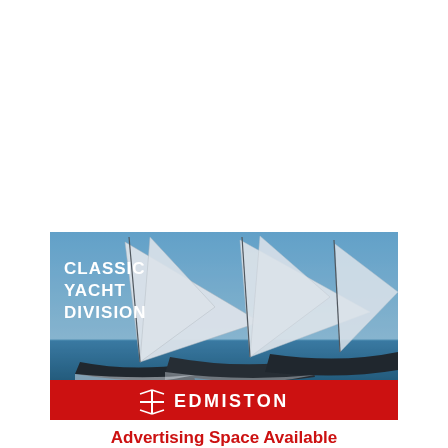[Figure (photo): Advertisement for Edmiston Classic Yacht Division. Top portion shows a photograph of classic sailing yachts racing with large white sails against a blue sky and sea. Overlaid text on the left reads 'CLASSIC YACHT DIVISION' in white. Below the photo is a red banner with the Edmiston logo (a stylized compass/cross symbol followed by the word EDMISTON) in white.]
Advertising Space Available